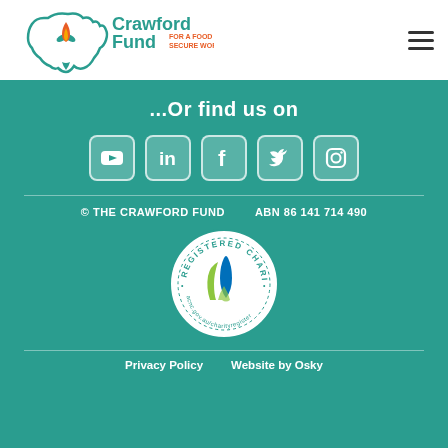[Figure (logo): Crawford Fund logo — outline of Australia with flame/plant icon, text 'Crawford Fund FOR A FOOD SECURE WORLD' in teal and orange]
...Or find us on
[Figure (infographic): Row of 5 social media icons (YouTube, LinkedIn, Facebook, Twitter/X, Instagram) in white on teal rounded-square backgrounds]
© THE CRAWFORD FUND    ABN 86 141 714 490
[Figure (logo): Registered Charity badge — circular seal reading 'REGISTERED CHARITY • acnc.gov.au/charityregister' with blue and green flame logo]
Privacy Policy    Website by Osky